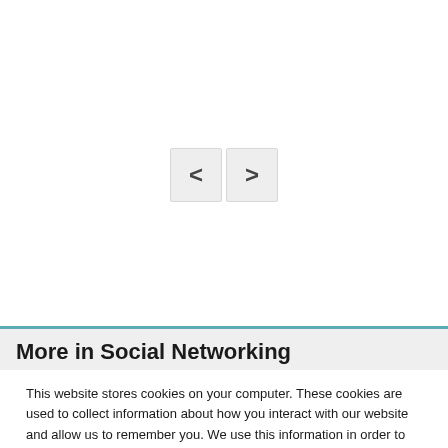[Figure (other): Navigation arrow buttons (left chevron and right chevron) on a light grey background]
More in Social Networking
This website stores cookies on your computer. These cookies are used to collect information about how you interact with our website and allow us to remember you. We use this information in order to improve and customize your browsing experience and for analytics and metrics about our visitors both on this website and other media. To find out more about the cookies we use, see our Privacy Policy. California residents have the right to direct us not to sell their personal information to third parties by filing an Opt-Out Request: Do Not Sell My Personal Info.
Accept